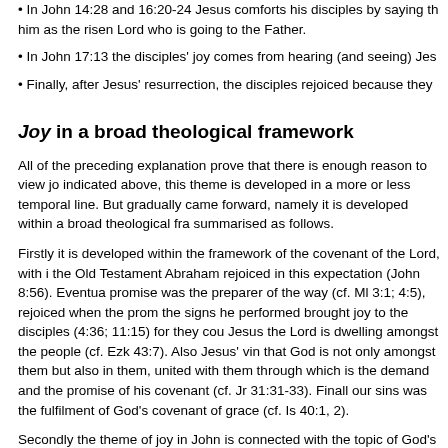• In John 14:28 and 16:20-24 Jesus comforts his disciples by saying th him as the risen Lord who is going to the Father.
• In John 17:13 the disciples' joy comes from hearing (and seeing) Jes
• Finally, after Jesus' resurrection, the disciples rejoiced because they
Joy in a broad theological framework
All of the preceding explanation prove that there is enough reason to view jo indicated above, this theme is developed in a more or less temporal line. But gradually came forward, namely it is developed within a broad theological fra summarised as follows.
Firstly it is developed within the framework of the covenant of the Lord, with i the Old Testament Abraham rejoiced in this expectation (John 8:56). Eventua promise was the preparer of the way (cf. Ml 3:1; 4:5), rejoiced when the prom the signs he performed brought joy to the disciples (4:36; 11:15) for they cou Jesus the Lord is dwelling amongst the people (cf. Ezk 43:7). Also Jesus' vin that God is not only amongst them but also in them, united with them through which is the demand and the promise of his covenant (cf. Jr 31:31-33). Finall our sins was the fulfilment of God's covenant of grace (cf. Is 40:1, 2).
Secondly the theme of joy in John is connected with the topic of God's kingdo John 3:3, 5 it does not mean it is absent from the Gospel. It is only referred to
As Childs (1993:644) points out, the sending of the Son from heaven by the F